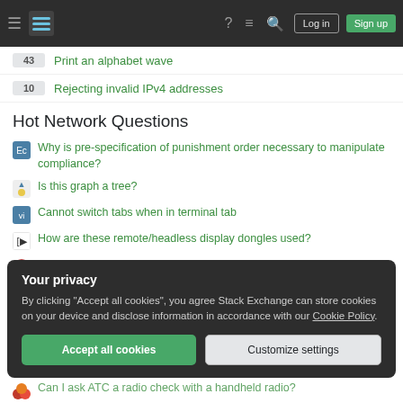Stack Exchange navigation bar with Log in and Sign up buttons
43  Print an alphabet wave
10  Rejecting invalid IPv4 addresses
Hot Network Questions
Why is pre-specification of punishment order necessary to manipulate compliance?
Is this graph a tree?
Cannot switch tabs when in terminal tab
How are these remote/headless display dongles used?
What is the average annual increase in the pollination rate?
Your privacy
By clicking "Accept all cookies", you agree Stack Exchange can store cookies on your device and disclose information in accordance with our Cookie Policy.
Can I ask ATC a radio check with a handheld radio?